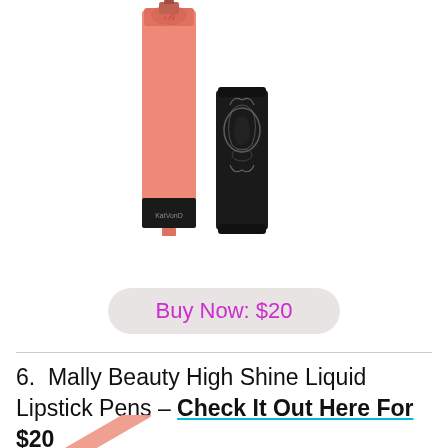[Figure (photo): Two lip gloss/lipstick products side by side — a tall pink tube and a shorter black ornate cap, Kat Von D style packaging]
Buy Now: $20
6.  Mally Beauty High Shine Liquid Lipstick Pens – Check It Out Here For $20
[Figure (photo): Partial view of a pink/peach lipstick pen at an angle at the bottom of the page]